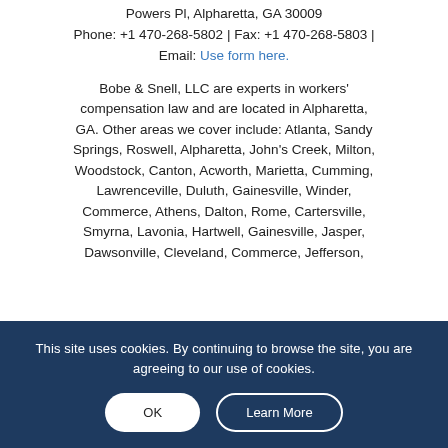Powers Pl, Alpharetta, GA 30009
Phone: +1 470-268-5802 | Fax: +1 470-268-5803 |
Email: Use form here.
Bobe & Snell, LLC are experts in workers' compensation law and are located in Alpharetta, GA. Other areas we cover include: Atlanta, Sandy Springs, Roswell, Alpharetta, John's Creek, Milton, Woodstock, Canton, Acworth, Marietta, Cumming, Lawrenceville, Duluth, Gainesville, Winder, Commerce, Athens, Dalton, Rome, Cartersville, Smyrna, Lavonia, Hartwell, Gainesville, Jasper, Dawsonville, Cleveland, Commerce, Jefferson,
This site uses cookies. By continuing to browse the site, you are agreeing to our use of cookies.